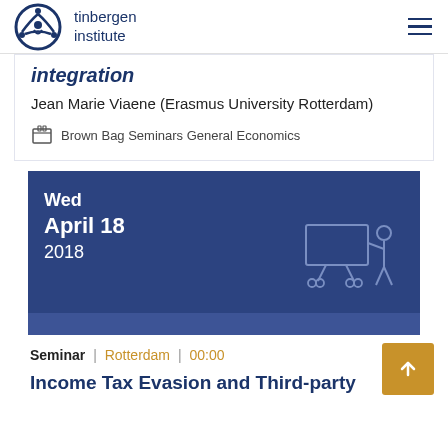tinbergen institute
integration
Jean Marie Viaene (Erasmus University Rotterdam)
Brown Bag Seminars General Economics
[Figure (infographic): Blue date card showing Wed April 18 2018 with seminar presenter icon]
Seminar | Rotterdam | 00:00
Income Tax Evasion and Third-party